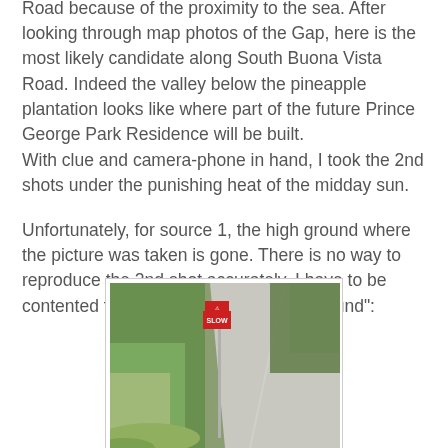Road because of the proximity to the sea. After looking through map photos of the Gap, here is the most likely candidate along South Buona Vista Road. Indeed the valley below the pineapple plantation looks like where part of the future Prince George Park Residence will be built.
With clue and camera-phone in hand, I took the 2nd shots under the punishing heat of the midday sun.
Unfortunately, for source 1, the high ground where the picture was taken is gone. There is no way to reproduce the 2nd shot accurately. I have to be contented finding the next best "high ground":
[Figure (photo): A photograph of a road with a SLOW sign on a post at the side. Green vegetation on the left, road curving to the right, trees and foliage in the background.]